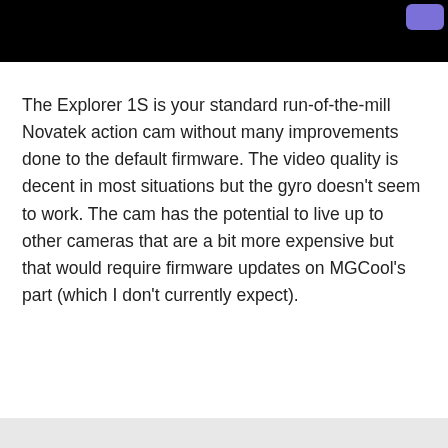The Explorer 1S is your standard run-of-the-mill Novatek action cam without many improvements done to the default firmware. The video quality is decent in most situations but the gyro doesn't seem to work. The cam has the potential to live up to other cameras that are a bit more expensive but that would require firmware updates on MGCool's part (which I don't currently expect).